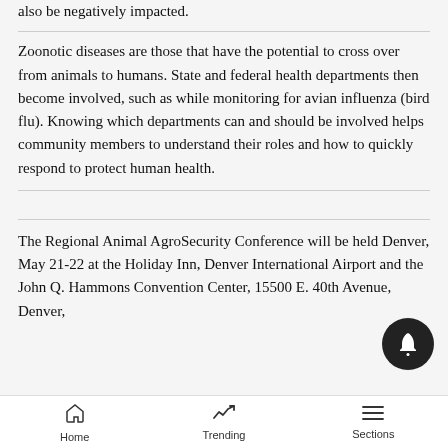also be negatively impacted.
Zoonotic diseases are those that have the potential to cross over from animals to humans. State and federal health departments then become involved, such as while monitoring for avian influenza (bird flu). Knowing which departments can and should be involved helps community members to understand their roles and how to quickly respond to protect human health.
The Regional Animal AgroSecurity Conference will be held Denver, May 21-22 at the Holiday Inn, Denver International Airport and the John Q. Hammons Convention Center, 15500 E. 40th Avenue, Denver,
Home  Trending  Sections